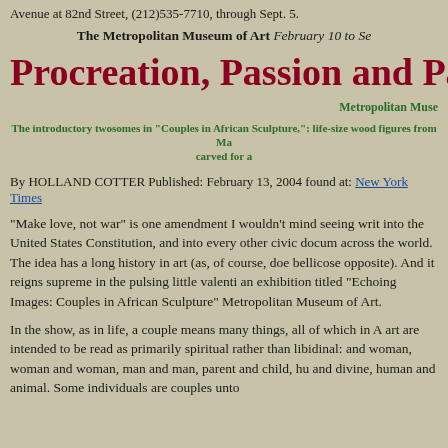Avenue at 82nd Street, (212)535-7710, through Sept. 5.
The Metropolitan Museum of Art February 10 to Se
Procreation, Passion and Partne
Metropolitan Muse
The introductory twosomes in "Couples in African Sculpture,": life-size wood figures from Ma carved for a
By HOLLAND COTTER Published: February 13, 2004 found at: New York Times
"Make love, not war" is one amendment I wouldn't mind seeing writ into the United States Constitution, and into every other civic docum across the world. The idea has a long history in art (as, of course, doe bellicose opposite). And it reigns supreme in the pulsing little valenti an exhibition titled "Echoing Images: Couples in African Sculpture" Metropolitan Museum of Art.
In the show, as in life, a couple means many things, all of which in A art are intended to be read as primarily spiritual rather than libidinal: and woman, woman and woman, man and man, parent and child, hu and divine, human and animal. Some individuals are couples unto